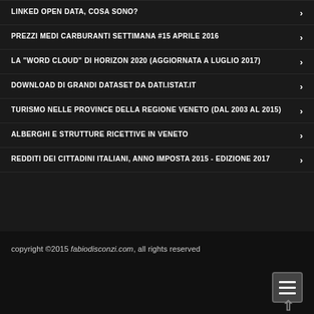LINKED OPEN DATA, COSA SONO?
PREZZI MEDI CARBURANTI SETTIMANA #15 APRILE 2016
LA "WORD CLOUD" DI HORIZON 2020 (AGGIORNATA A LUGLIO 2017)
DOWNLOAD DI GRANDI DATASET DA DATI.ISTAT.IT
TURISMO NELLE PROVINCE DELLA REGIONE VENETO (DAL 2003 AL 2015)
ALBERGHI E STRUTTURE RICETTIVE IN VENETO
REDDITI DEI CITTADINI ITALIANI, ANNO IMPOSTA 2015 - EDIZIONE 2017
copyright ©2015 fabiodisconzi.com, all rights reserved